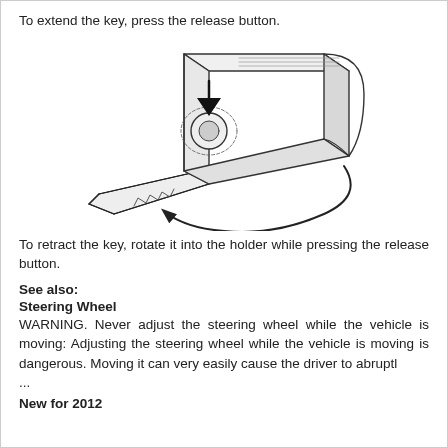To extend the key, press the release button.
[Figure (illustration): Isometric technical diagram of a car key fob showing the key blade extended outward with a curved arrow indicating rotation, and a downward arrow pointing to a release button on the top of the fob.]
To retract the key, rotate it into the holder while pressing the release button.
See also:
Steering Wheel
WARNING. Never adjust the steering wheel while the vehicle is moving: Adjusting the steering wheel while the vehicle is moving is dangerous. Moving it can very easily cause the driver to abruptl ...
New for 2012